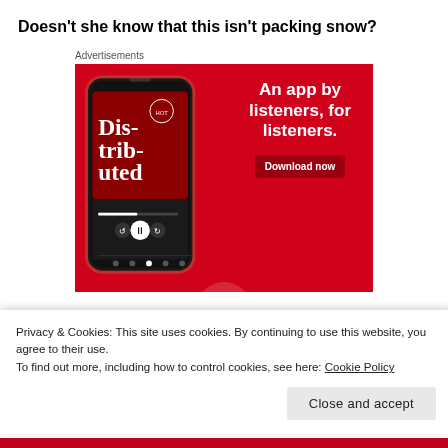Doesn't she know that this isn't packing snow?
Advertisements
[Figure (screenshot): Advertisement banner with red background showing a smartphone displaying the 'Dis-tri-buted' podcast app. Text reads: 'An app by listeners, for listeners.' with a 'Download now' button.]
Privacy & Cookies: This site uses cookies. By continuing to use this website, you agree to their use.
To find out more, including how to control cookies, see here: Cookie Policy
Close and accept